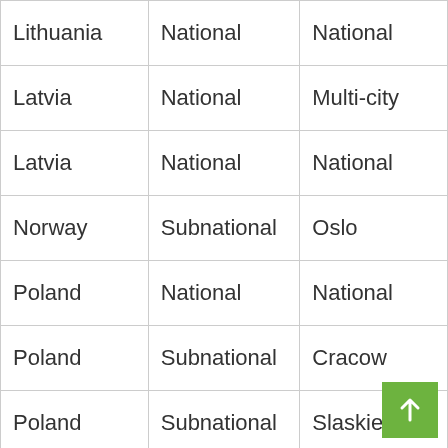| Lithuania | National | National |
| Latvia | National | Multi-city |
| Latvia | National | National |
| Norway | Subnational | Oslo |
| Poland | National | National |
| Poland | Subnational | Cracow |
| Poland | Subnational | Slaskie |